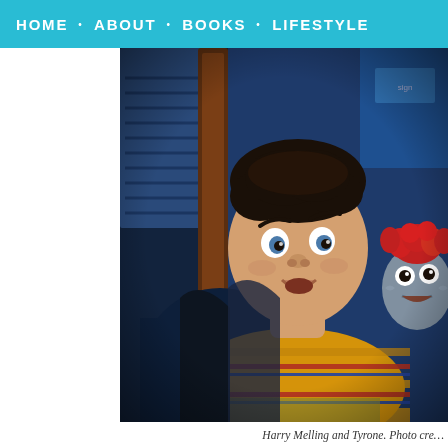HOME · ABOUT · BOOKS · LIFESTYLE
[Figure (photo): A young man in a yellow striped shirt sitting against a wooden headboard, looking surprised, with a grey puppet with red hair next to him. Blue-lit background with blinds visible.]
Harry Melling and Tyrone. Photo cre…